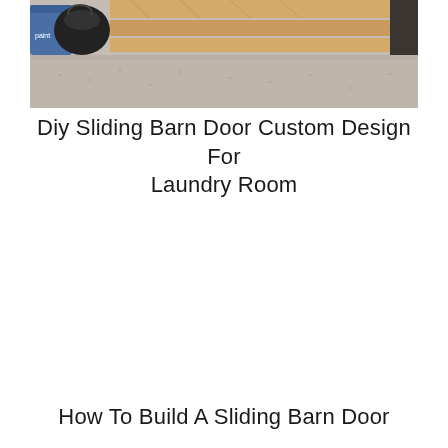[Figure (photo): Partial view of a room with lumber boards, a black bag, a blue bucket, and a beige/grey carpeted or concrete floor, showing a DIY construction scene for a sliding barn door project.]
Diy Sliding Barn Door Custom Design For Laundry Room
How To Build A Sliding Barn Door